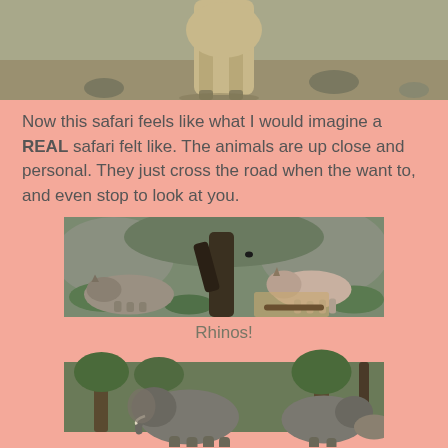[Figure (photo): Partial view of a large animal (likely a deer or similar) walking on a dirt/grass path, seen from behind, cropped at top of page]
Now this safari feels like what I would imagine a REAL safari felt like. The animals are up close and personal. They just cross the road when the want to, and even stop to look at you.
[Figure (photo): Two rhinoceroses in a rocky, wooded enclosure — one lying down on the left, one walking on the right, with a large dead tree trunk in the center]
Rhinos!
[Figure (photo): Large elephants among trees, partially visible at bottom of page, cropped]